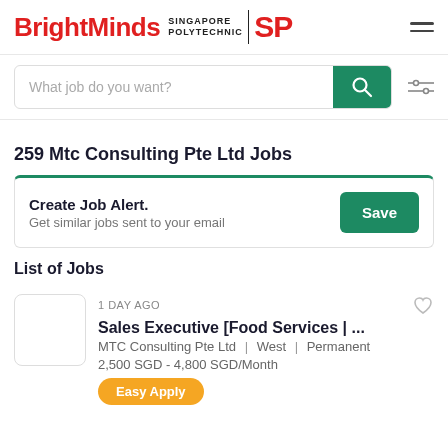BrightMinds Singapore Polytechnic SP
What job do you want?
259 Mtc Consulting Pte Ltd Jobs
Create Job Alert. Get similar jobs sent to your email
List of Jobs
1 DAY AGO
Sales Executive [Food Services | ...
MTC Consulting Pte Ltd | West | Permanent
2,500 SGD - 4,800 SGD/Month
Easy Apply